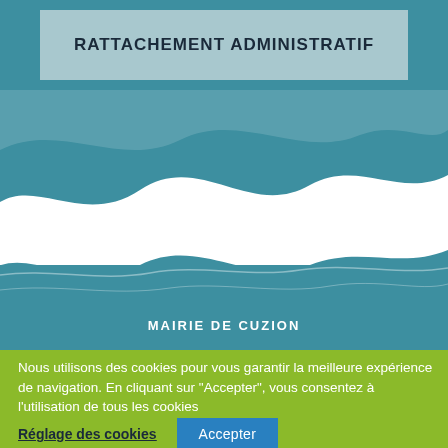RATTACHEMENT ADMINISTRATIF
[Figure (illustration): Teal background with wave graphic in white and teal tones depicting water waves, with green section at bottom]
MAIRIE DE CUZION
Nous utilisons des cookies pour vous garantir la meilleure expérience de navigation. En cliquant sur "Accepter", vous consentez à l'utilisation de tous les cookies
Réglage des cookies | Accepter